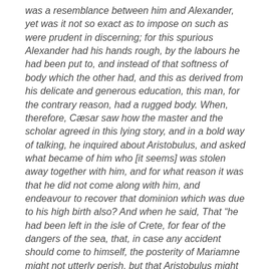was a resemblance between him and Alexander, yet was it not so exact as to impose on such as were prudent in discerning; for this spurious Alexander had his hands rough, by the labours he had been put to, and instead of that softness of body which the other had, and this as derived from his delicate and generous education, this man, for the contrary reason, had a rugged body. When, therefore, Cæsar saw how the master and the scholar agreed in this lying story, and in a bold way of talking, he inquired about Aristobulus, and asked what became of him who [it seems] was stolen away together with him, and for what reason it was that he did not come along with him, and endeavour to recover that dominion which was due to his high birth also? And when he said, That "he had been left in the isle of Crete, for fear of the dangers of the sea, that, in case any accident should come to himself, the posterity of Mariamne might not utterly perish, but that Aristobulus might survive, and punish those that laid such treacherous designs against them."